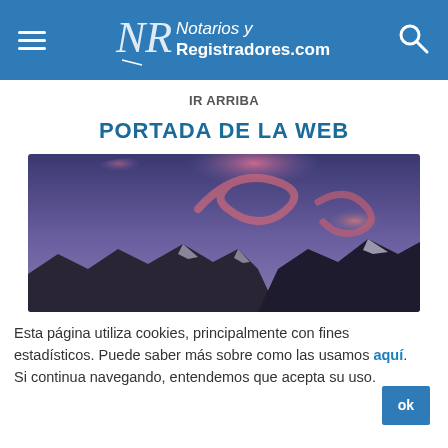Notarios y Registradores.com
IR ARRIBA
PORTADA DE LA WEB
[Figure (photo): Panoramic mountain landscape at dusk with purple sky and pink clouds over snow-capped peaks]
Esta página utiliza cookies, principalmente con fines estadísticos. Puede saber más sobre como las usamos aquí. Si continua navegando, entendemos que acepta su uso. ok